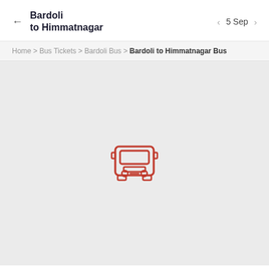Bardoli to Himmatnagar
Home > Bus Tickets > Bardoli Bus > Bardoli to Himmatnagar Bus
[Figure (illustration): Red bus front-view icon on light grey background, indicating no results or loading state]